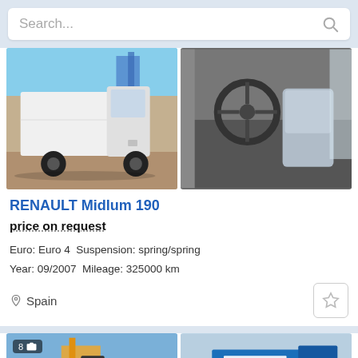Search...
[Figure (photo): White Renault Midlum 190 truck exterior, parked on gravel, side/front view]
[Figure (photo): Interior cab view of truck showing steering wheel and seats]
RENAULT Midlum 190
price on request
Euro: Euro 4   Suspension: spring/spring
Year: 09/2007   Mileage: 325000 km
Spain
[Figure (photo): Second listing truck photo left - blue truck near commercial signs]
[Figure (photo): Second listing truck photo right - blue box truck]